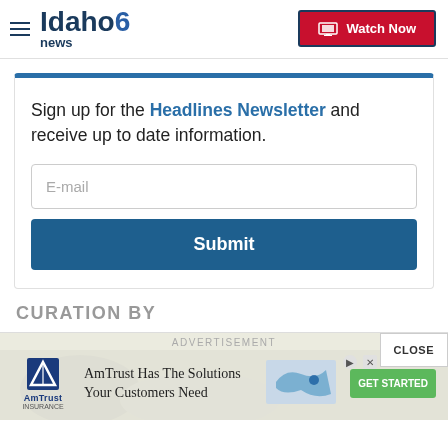[Figure (logo): Idaho News 6 logo with hamburger menu]
[Figure (screenshot): Watch Now button with red background and monitor icon]
Sign up for the Headlines Newsletter and receive up to date information.
[Figure (screenshot): E-mail input field placeholder]
[Figure (screenshot): Submit button in blue]
CURATION BY
ADVERTISEMENT
[Figure (screenshot): AmTrust insurance advertisement: AmTrust Has The Solutions Your Customers Need, with GET STARTED button and map image. Close button top right.]